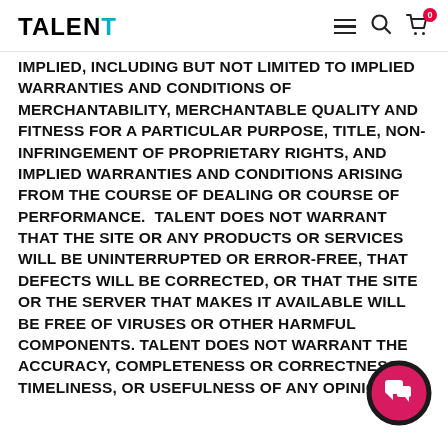TALENT
IMPLIED, INCLUDING BUT NOT LIMITED TO IMPLIED WARRANTIES AND CONDITIONS OF MERCHANTABILITY, MERCHANTABLE QUALITY AND FITNESS FOR A PARTICULAR PURPOSE, TITLE, NON-INFRINGEMENT OF PROPRIETARY RIGHTS, AND IMPLIED WARRANTIES AND CONDITIONS ARISING FROM THE COURSE OF DEALING OR COURSE OF PERFORMANCE.  TALENT DOES NOT WARRANT THAT THE SITE OR ANY PRODUCTS OR SERVICES WILL BE UNINTERRUPTED OR ERROR-FREE, THAT DEFECTS WILL BE CORRECTED, OR THAT THE SITE OR THE SERVER THAT MAKES IT AVAILABLE WILL BE FREE OF VIRUSES OR OTHER HARMFUL COMPONENTS. TALENT DOES NOT WARRANT THE ACCURACY, COMPLETENESS OR CORRECTNESS, TIMELINESS, OR USEFULNESS OF ANY OPINIONS,
[Figure (other): Pink/magenta circular chat button icon with speech bubble icon, positioned bottom-right]